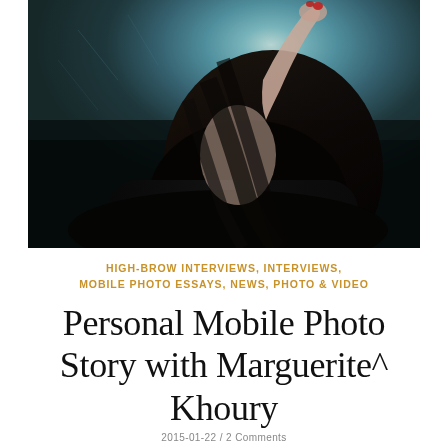[Figure (photo): Artistic dark photograph of a woman with long dark hair, seen from behind/side, reaching upward with her hand against a teal-toned wall background. She is wearing a dark outfit. The image has a moody, atmospheric aesthetic with dark tones.]
HIGH-BROW INTERVIEWS, INTERVIEWS, MOBILE PHOTO ESSAYS, NEWS, PHOTO & VIDEO
Personal Mobile Photo Story with Marguerite^ Khoury
2015-01-22 / 2 Comments